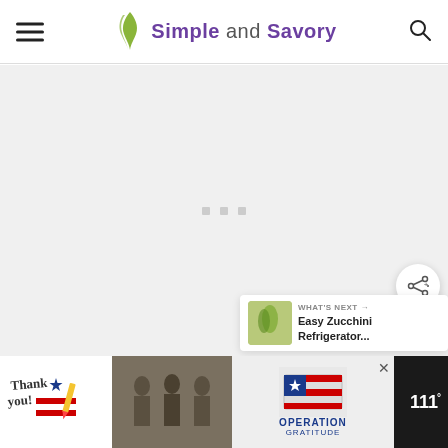Simple and Savory
[Figure (other): Main content area with loading dots, mostly blank/grey]
[Figure (other): Share button (circular white button with share icon)]
[Figure (other): What's Next panel showing 'Easy Zucchini Refrigerator...' with thumbnail]
[Figure (other): Advertisement banner: Thank You / Operation Gratitude with military imagery, and weather widget]